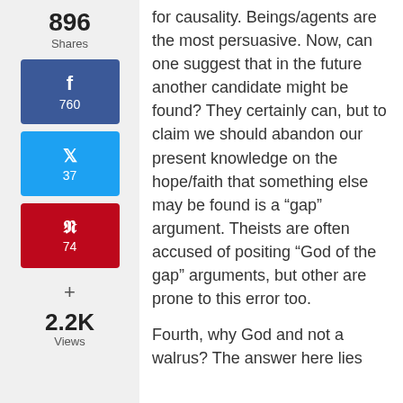896 Shares
[Figure (infographic): Facebook share button with count 760]
[Figure (infographic): Twitter share button with count 37]
[Figure (infographic): Pinterest share button with count 74]
+
2.2K Views
for causality. Beings/agents are the most persuasive. Now, can one suggest that in the future another candidate might be found? They certainly can, but to claim we should abandon our present knowledge on the hope/faith that something else may be found is a “gap” argument. Theists are often accused of positing “God of the gap” arguments, but other are prone to this error too.

Fourth, why God and not a walrus? The answer here lies